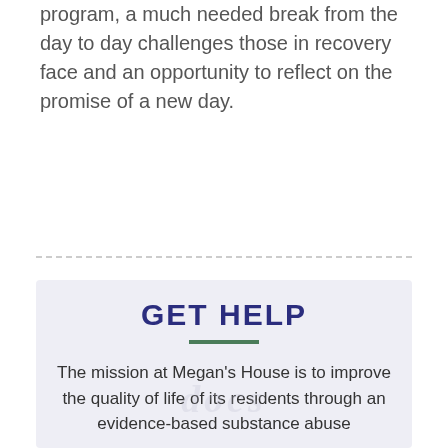program, a much needed break from the day to day challenges those in recovery face and an opportunity to reflect on the promise of a new day.
GET HELP
The mission at Megan's House is to improve the quality of life of its residents through an evidence-based substance abuse